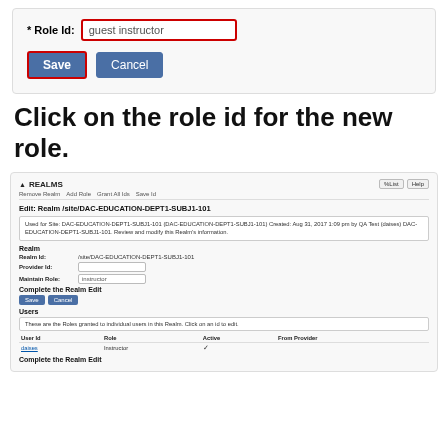[Figure (screenshot): Form panel showing Role Id field with 'guest instructor' text entered, and Save and Cancel buttons.]
Click on the role id for the new role.
[Figure (screenshot): Realms interface screenshot showing Edit Realm /site/DAC-EDUCATION-DEPT1-SUBJ1-101 with fields for Realm Id, Provider Id, Maintain Role, Save/Cancel buttons, Users section with table showing User Id, Role, Active, From Provider columns, and a 'daises' user with Instructor role.]